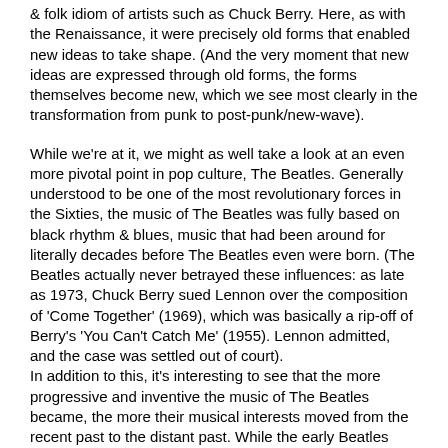& folk idiom of artists such as Chuck Berry. Here, as with the Renaissance, it were precisely old forms that enabled new ideas to take shape. (And the very moment that new ideas are expressed through old forms, the forms themselves become new, which we see most clearly in the transformation from punk to post-punk/new-wave).
While we're at it, we might as well take a look at an even more pivotal point in pop culture, The Beatles. Generally understood to be one of the most revolutionary forces in the Sixties, the music of The Beatles was fully based on black rhythm & blues, music that had been around for literally decades before The Beatles even were born. (The Beatles actually never betrayed these influences: as late as 1973, Chuck Berry sued Lennon over the composition of 'Come Together' (1969), which was basically a rip-off of Berry's 'You Can't Catch Me' (1955). Lennon admitted, and the case was settled out of court). In addition to this, it's interesting to see that the more progressive and inventive the music of The Beatles became, the more their musical interests moved from the recent past to the distant past. While the early Beatles were concerned with rhythm & blues only, the later ('Sergeant Pepper'-era) Beatles were profoundly inspired by matters such as the 19th century operas of Gilbert & Sullivan, and vintage Vaudeville.
04.
Modernism, the Renaissance, punk, The Beatles. Four very different models that show us (all in their own specific way) that the practice of